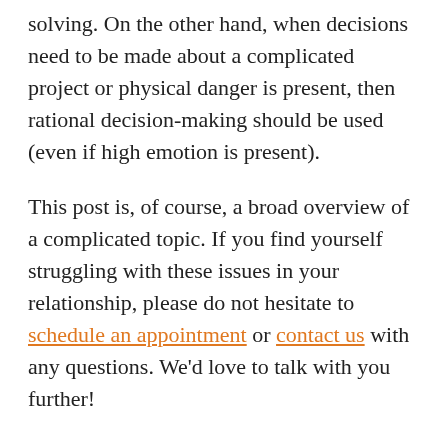solving. On the other hand, when decisions need to be made about a complicated project or physical danger is present, then rational decision-making should be used (even if high emotion is present).
This post is, of course, a broad overview of a complicated topic. If you find yourself struggling with these issues in your relationship, please do not hesitate to schedule an appointment or contact us with any questions. We'd love to talk with you further!